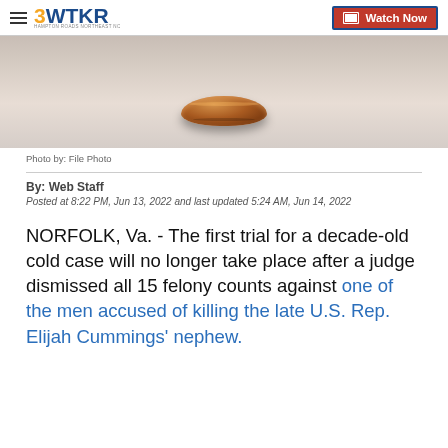3WTKR — Watch Now
[Figure (photo): Close-up photo of a wooden ring or circular wooden object on a light surface]
Photo by: File Photo
By: Web Staff
Posted at 8:22 PM, Jun 13, 2022 and last updated 5:24 AM, Jun 14, 2022
NORFOLK, Va. - The first trial for a decade-old cold case will no longer take place after a judge dismissed all 15 felony counts against one of the men accused of killing the late U.S. Rep. Elijah Cummings' nephew.